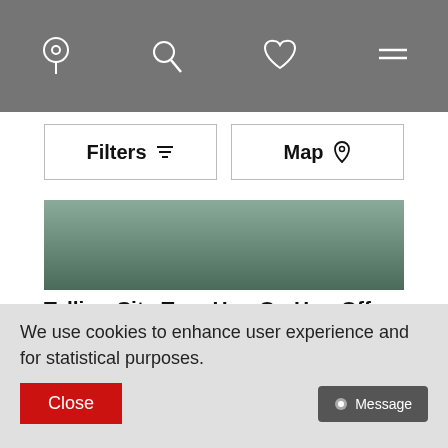Navigation bar with location, search, heart, and menu icons
Filters  Map
[Figure (photo): Partial view of a city tour bus or vehicle, top portion cropped]
Tallinn City Tour Hop On Hop Off bus on the orange line
[Figure (photo): Photo of a building or bus with text MURRU and VA visible, with Sightseeing Tour badge overlay]
We use cookies to enhance user experience and for statistical purposes.
Close
Message